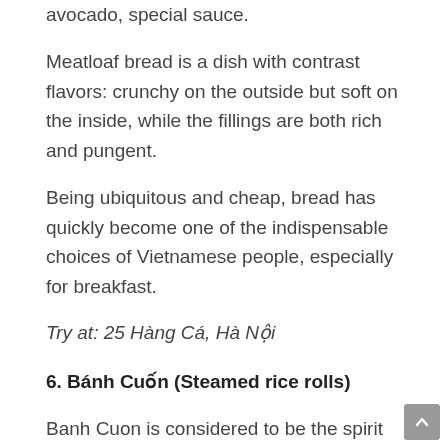avocado, special sauce.
Meatloaf bread is a dish with contrast flavors: crunchy on the outside but soft on the inside, while the fillings are both rich and pungent.
Being ubiquitous and cheap, bread has quickly become one of the indispensable choices of Vietnamese people, especially for breakfast.
Try at: 25 Hàng Cá, Hà Nội
6. Bánh Cuốn (Steamed rice rolls)
Banh Cuon is considered to be the spirit of the wet rice cultivation that has existed for a long time in Vietnam. Banh Cuon has been present in the Northern of Vietnam